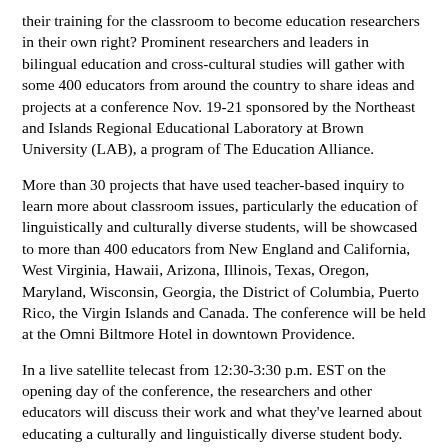their training for the classroom to become education researchers in their own right? Prominent researchers and leaders in bilingual education and cross-cultural studies will gather with some 400 educators from around the country to share ideas and projects at a conference Nov. 19-21 sponsored by the Northeast and Islands Regional Educational Laboratory at Brown University (LAB), a program of The Education Alliance.
More than 30 projects that have used teacher-based inquiry to learn more about classroom issues, particularly the education of linguistically and culturally diverse students, will be showcased to more than 400 educators from New England and California, West Virginia, Hawaii, Arizona, Illinois, Texas, Oregon, Maryland, Wisconsin, Georgia, the District of Columbia, Puerto Rico, the Virgin Islands and Canada. The conference will be held at the Omni Biltmore Hotel in downtown Providence.
In a live satellite telecast from 12:30-3:30 p.m. EST on the opening day of the conference, the researchers and other educators will discuss their work and what they've learned about educating a culturally and linguistically diverse student body. Schools and interested parties who wish to view the telecast may do so at no cost. For details on how to get the downlink, contact the LAB at 401-274-9548, ext. 273.